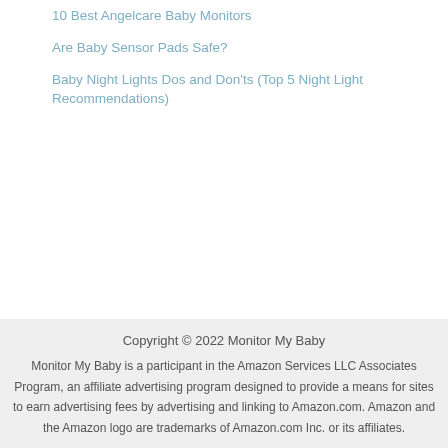10 Best Angelcare Baby Monitors
Are Baby Sensor Pads Safe?
Baby Night Lights Dos and Don'ts (Top 5 Night Light Recommendations)
Copyright © 2022 Monitor My Baby

Monitor My Baby is a participant in the Amazon Services LLC Associates Program, an affiliate advertising program designed to provide a means for sites to earn advertising fees by advertising and linking to Amazon.com. Amazon and the Amazon logo are trademarks of Amazon.com Inc. or its affiliates.